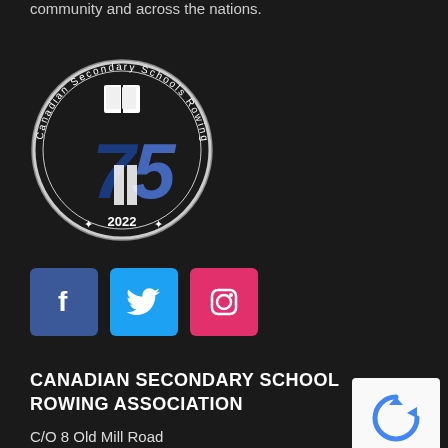community and across the nations.
[Figure (logo): Canadian Secondary Schools Rowing Association circular logo with '75' and '2022' text]
[Figure (infographic): Three social media buttons: Facebook (blue), Twitter (cyan), Instagram (pink/red)]
CANADIAN SECONDARY SCHOOL ROWING ASSOCIATION
C/O 8 Old Mill Road
[Figure (other): reCAPTCHA Privacy - Terms widget]